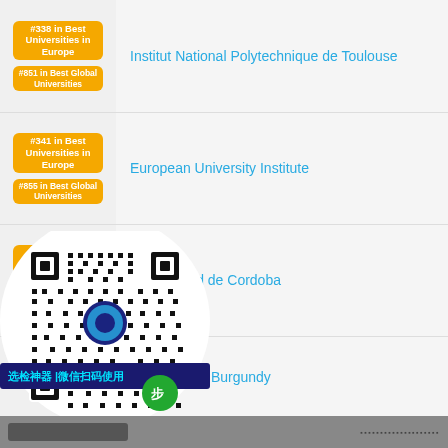[Figure (infographic): Badge showing #338 in Best Universities in Europe, #851 in Best Global Universities]
Institut National Polytechnique de Toulouse
[Figure (infographic): Badge showing #341 in Best Universities in Europe, #855 in Best Global Universities]
European University Institute
[Figure (infographic): Badge showing #341 in Best Universities in Europe, #855 in Best Global Universities]
Universidad de Cordoba
[Figure (infographic): Badge (partially obscured by QR overlay)]
University of Burgundy
[Figure (other): QR code overlay with WeChat scan label in Chinese: 选检神器|微信扫码使用]